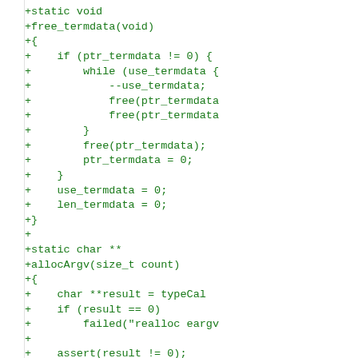+static void
+free_termdata(void)
+{
+    if (ptr_termdata != 0) {
+        while (use_termdata {
+            --use_termdata;
+            free(ptr_termdata
+            free(ptr_termdata
+        }
+        free(ptr_termdata);
+        ptr_termdata = 0;
+    }
+    use_termdata = 0;
+    len_termdata = 0;
+}
+
+static char **
+allocArgv(size_t count)
+{
+    char **result = typeCall
+    if (result == 0)
+        failed("realloc eargv
+
+    assert(result != 0);
+    return result;
+}
+
+static void
+freeArgv(char **argv)
+{
+    if (argv) {
+        int count = 0;